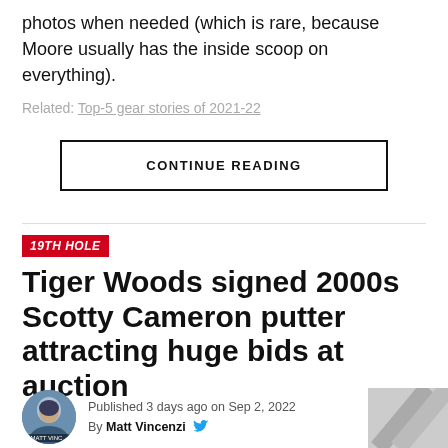photos when needed (which is rare, because Moore usually has the inside scoop on everything).
Related: Top-5 gear stories of 2021-22
CONTINUE READING
19TH HOLE
Tiger Woods signed 2000s Scotty Cameron putter attracting huge bids at auction
Published 3 days ago on Sep 2, 2022
By Matt Vincenzi